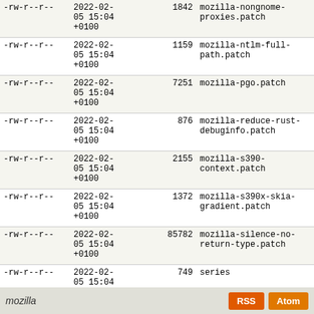| Permissions | Date | Size | Name | Links |
| --- | --- | --- | --- | --- |
| -rw-r--r-- | 2022-02-05 15:04 +0100 | 1842 | mozilla-nongnome-proxies.patch | file | revisions | annotate |
| -rw-r--r-- | 2022-02-05 15:04 +0100 | 1159 | mozilla-ntlm-full-path.patch | file | revisions | annotate |
| -rw-r--r-- | 2022-02-05 15:04 +0100 | 7251 | mozilla-pgo.patch | file | revisions | annotate |
| -rw-r--r-- | 2022-02-05 15:04 +0100 | 876 | mozilla-reduce-rust-debuginfo.patch | file | revisions | annotate |
| -rw-r--r-- | 2022-02-05 15:04 +0100 | 2155 | mozilla-s390-context.patch | file | revisions | annotate |
| -rw-r--r-- | 2022-02-05 15:04 +0100 | 1372 | mozilla-s390x-skia-gradient.patch | file | revisions | annotate |
| -rw-r--r-- | 2022-02-05 15:04 +0100 | 85782 | mozilla-silence-no-return-type.patch | file | revisions | annotate |
| -rw-r--r-- | 2022-02-05 15:04 +0100 | 749 | series | file | revisions | annotate |
| -rw-r--r-- | 2022-02-05 15:04 +0100 | 4636 | toolkit-ui-lockdown.patch | file | revisions | annotate |
mozilla  RSS  Atom